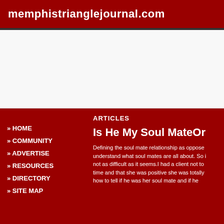memphistrianglejournal.com
[Figure (other): Advertisement banner area, white background]
» HOME
» COMMUNITY
» ADVERTISE
» RESOURCES
» DIRECTORY
» SITE MAP
ARTICLES
Is He My Soul MateOr...
Defining the soul mate relationship as opposed to understand what soul mates are all about. So it is not as difficult as it seems.I had a client not too time and that she was positive she was totally how to tell if he was her soul mate and if he...